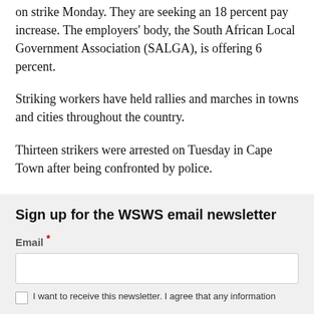on strike Monday. They are seeking an 18 percent pay increase. The employers' body, the South African Local Government Association (SALGA), is offering 6 percent.
Striking workers have held rallies and marches in towns and cities throughout the country.
Thirteen strikers were arrested on Tuesday in Cape Town after being confronted by police.
Sign up for the WSWS email newsletter
Email *
I want to receive this newsletter. I agree that any information